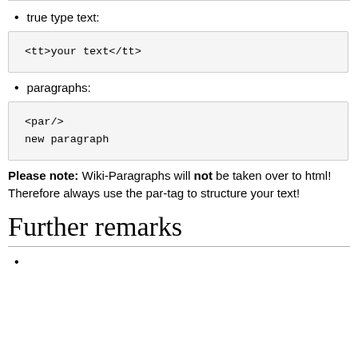true type text:
<tt>your text</tt>
paragraphs:
<par/>
new paragraph
Please note: Wiki-Paragraphs will not be taken over to html! Therefore always use the par-tag to structure your text!
Further remarks